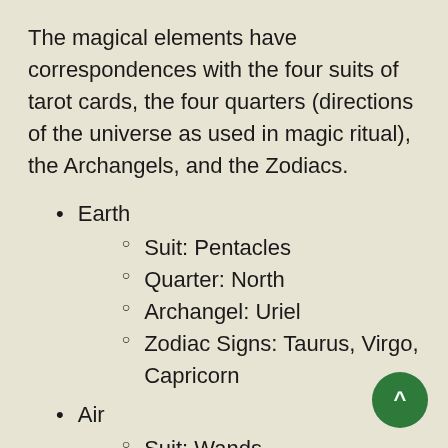The magical elements have correspondences with the four suits of tarot cards, the four quarters (directions of the universe as used in magic ritual), the Archangels, and the Zodiacs.
Earth
Suit: Pentacles
Quarter: North
Archangel: Uriel
Zodiac Signs: Taurus, Virgo, Capricorn
Air
Suit: Wands
Quarter: East